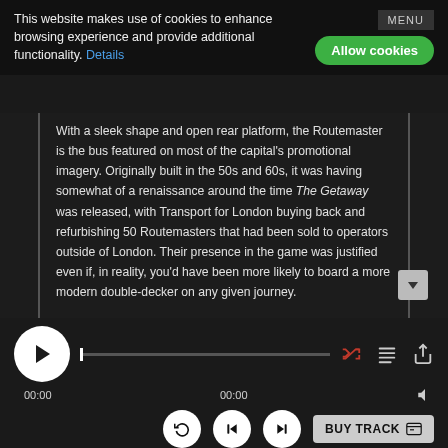This website makes use of cookies to enhance browsing experience and provide additional functionality. Details
With a sleek shape and open rear platform, the Routemaster is the bus featured on most of the capital's promotional imagery. Originally built in the 50s and 60s, it was having somewhat of a renaissance around the time The Getaway was released, with Transport for London buying back and refurbishing 50 Routemasters that had been sold to operators outside of London. Their presence in the game was justified even if, in reality, you'd have been more likely to board a more modern double-decker on any given journey.
Unfortunately, like the retail chains we've seen, things didn't go particularly well for the Routemaster. Rather chaotically, their reintroduction in 2001 coincided with accessibility legislation that forced most of the bus companies who were running them to retire the model in 2003. Today, they run on a single short heritage route from Tower Hill to Trafalgar Square – and only then on weekends and bank holidays between March and September.
Built between 1989 to 1999, things were a bit rosier for the less-notable single-decker De